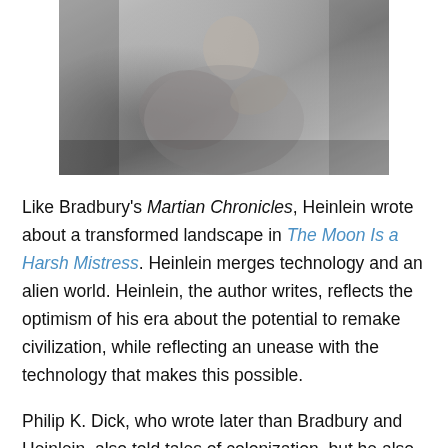[Figure (photo): Black and white photograph of a person reclining, appears to be a portrait photo]
Like Bradbury's Martian Chronicles, Heinlein wrote about a transformed landscape in The Moon Is a Harsh Mistress. Heinlein merges technology and an alien world. Heinlein, the author writes, reflects the optimism of his era about the potential to remake civilization, while reflecting an unease with the technology that makes this possible.
Philip K. Dick, who wrote later than Bradbury and Heinlein, also told tales of colonization, but he also reflected a 1970s-era sensibility, as his stories often focused on